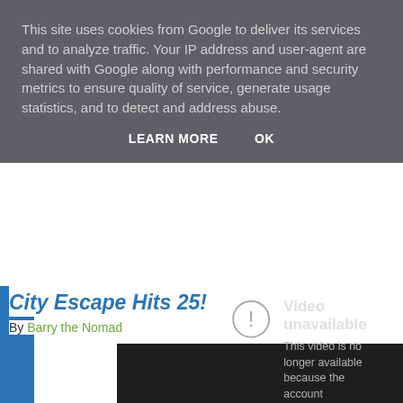This site uses cookies from Google to deliver its services and to analyze traffic. Your IP address and user-agent are shared with Google along with performance and security metrics to ensure quality of service, generate usage statistics, and to detect and address abuse.
LEARN MORE   OK
City Escape Hits 25!
By Barry the Nomad
[Figure (screenshot): Embedded YouTube video player showing 'Video unavailable' error message with exclamation mark icon and text: 'This video is no longer available because the account associated with this video has been terminated.']